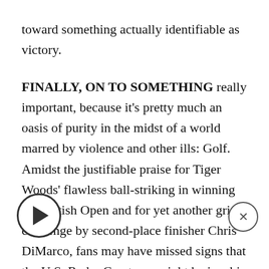toward something actually identifiable as victory.
FINALLY, ON TO SOMETHING really important, because it's pretty much an oasis of purity in the midst of a world marred by violence and other ills: Golf. Amidst the justifiable praise for Tiger Woods' flawless ball-striking in winning the British Open and for yet another gritty challenge by second-place finisher Chris DiMarco, fans may have missed signs that the U.S. Ryder Cup team might be in a big heap of trouble. Of the players who entered the week from 6th through 18th on the Ryder Cup list (top 10 qualify, plus two captain's picks), only one, Vaughn Taylor, made the Open cut, and